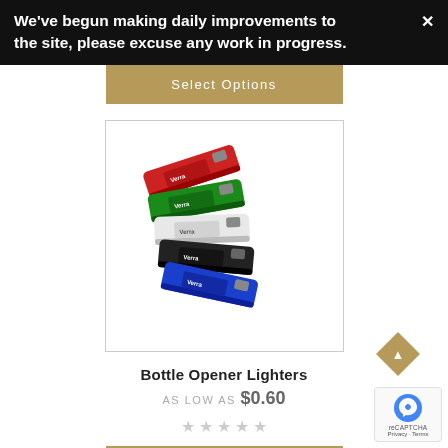We've begun making daily improvements to the site, please excuse any work in progress.
Select Options
[Figure (photo): Five Bottle Opener Lighters in red, green, white, black, and blue colors arranged in a stacked fan display, each branded with a logo.]
Bottle Opener Lighters
AS LOW AS $0.60
★★★★★ (empty stars rating)
Select Options (partial button)